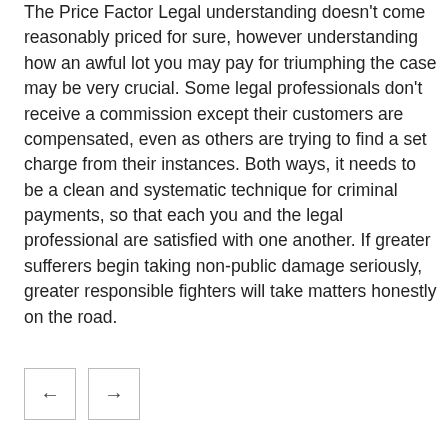The Price Factor Legal understanding doesn't come reasonably priced for sure, however understanding how an awful lot you may pay for triumphing the case may be very crucial. Some legal professionals don't receive a commission except their customers are compensated, even as others are trying to find a set charge from their instances. Both ways, it needs to be a clean and systematic technique for criminal payments, so that each you and the legal professional are satisfied with one another. If greater sufferers begin taking non-public damage seriously, greater responsible fighters will take matters honestly on the road.